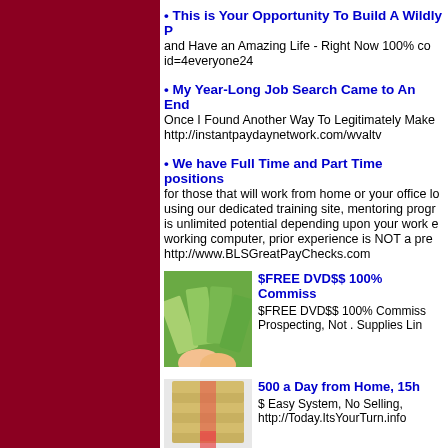• This is Your Opportunity To Build A Wildly P... and Have an Amazing Life - Right Now 100% co... id=4everyone24
• My Year-Long Job Search Came to An End Once I Found Another Way To Legitimately Make... http://instantpaydaynetwork.com/wvaltv
• We have Full Time and Part Time positions for those that will work from home or your office lo... using our dedicated training site, mentoring progr... is unlimited potential depending upon your work e... working computer, prior experience is NOT a pre... http://www.BLSGreatPayChecks.com
[Figure (photo): Hands holding a fan of US dollar bills]
$FREE DVD$$ 100% Commiss... $FREE DVD$$ 100% Commiss... Prospecting, Not . Supplies Lin...
[Figure (photo): Stack of US dollar bill bundles]
500 a Day from Home, 15h... $ Easy System, No Selling,... http://Today.ItsYourTurn.info...